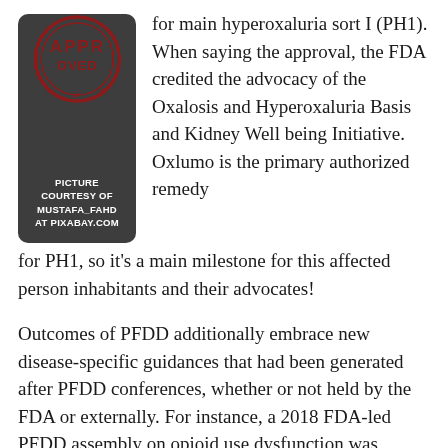[Figure (illustration): Dark gray rounded rectangle box with a red circular 'APPROVED' stamp at the top and white bold text reading 'PICTURE COURTESY OF MUSTAFA_FAHD AT PIXABAY.COM']
for main hyperoxaluria sort I (PH1). When saying the approval, the FDA credited the advocacy of the Oxalosis and Hyperoxaluria Basis and Kidney Well being Initiative. Oxlumo is the primary authorized remedy for PH1, so it's a main milestone for this affected person inhabitants and their advocates!
Outcomes of PFDD additionally embrace new disease-specific guidances that had been generated after PFDD conferences, whether or not held by the FDA or externally. For instance, a 2018 FDA-led PFDD assembly on opioid use dysfunction was adopted by a steerage finalized in 2020 for endpoints to be included in opioid use dysfunction scientific trials.